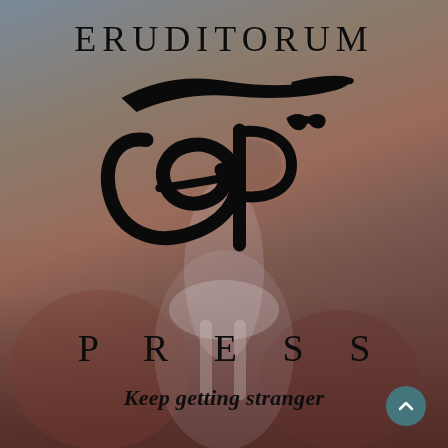[Figure (logo): Eruditorum Press logo page with artistic background showing figures, large EP monogram logo in center, text ERUDITORUM at top, PRESS below logo, tagline 'Keep getting stranger' near bottom]
ERUDITORUM
[Figure (logo): EP monogram — stylized cursive 'e' and 'P' letters combined into a single black calligraphic logo mark with a long horizontal swoosh above]
P R E S S
Keep getting stranger